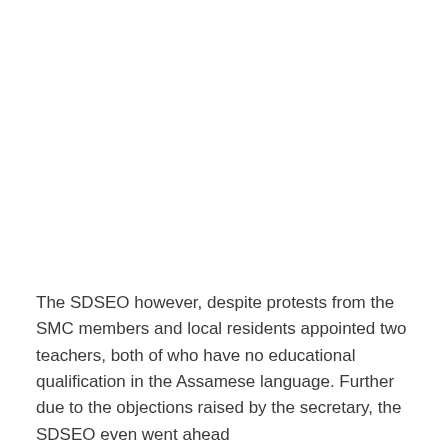The SDSEO however, despite protests from the SMC members and local residents appointed two teachers, both of who have no educational qualification in the Assamese language. Further due to the objections raised by the secretary, the SDSEO even went ahead